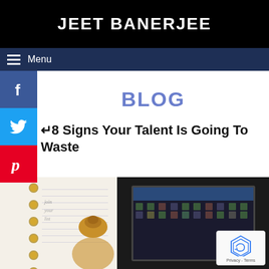JEET BANERJEE
Menu
BLOG
8 Signs Your Talent Is Going To Waste
[Figure (photo): Person with blonde hair bun leaning over an open planner notebook beside a laptop on a dark desk, with a reCAPTCHA widget in the bottom-right corner.]